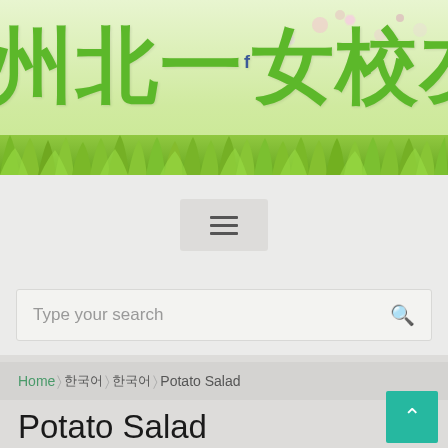[Figure (illustration): Website header banner with floral/nature background and large green Chinese characters reading 州北一女校友會 with a small Facebook 'f' icon. Green grass at the bottom of the banner.]
[Figure (screenshot): Hamburger menu button (three horizontal lines icon) centered in a light gray section below the header banner.]
[Figure (screenshot): Search bar with placeholder text 'Type your search' and a magnifying glass icon on the right.]
Home > □□□□ > □□□□ > Potato Salad
Potato Salad